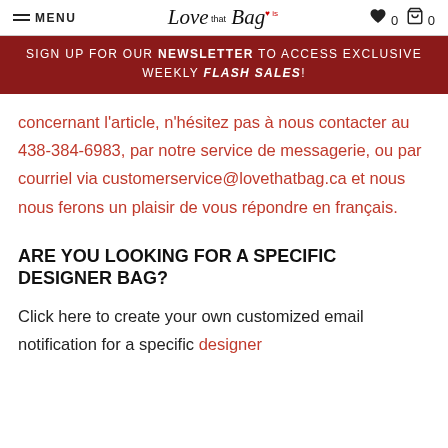MENU | Love that Bag | 0 | 0
SIGN UP FOR OUR NEWSLETTER TO ACCESS EXCLUSIVE WEEKLY FLASH SALES!
concernant l'article, n'hésitez pas à nous contacter au 438-384-6983, par notre service de messagerie, ou par courriel via customerservice@lovethatbag.ca et nous nous ferons un plaisir de vous répondre en français.
ARE YOU LOOKING FOR A SPECIFIC DESIGNER BAG?
Click here to create your own customized email notification for a specific designer